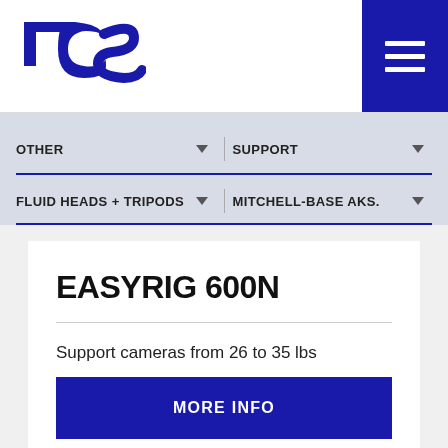[Figure (logo): TCS company logo in dark blue with stylized T, C, S letters]
OTHER | SUPPORT | FLUID HEADS + TRIPODS | MITCHELL-BASE AKS.
EASYRIG 600N
Support cameras from 26 to 35 lbs
MORE INFO